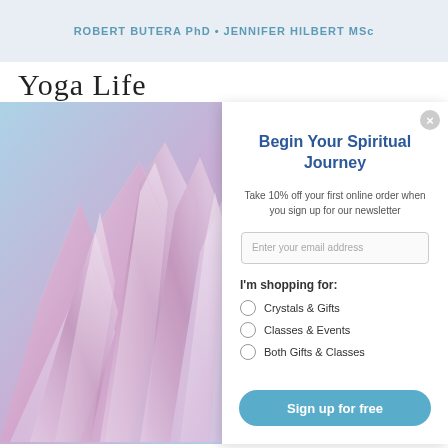ROBERT BUTERA PhD • JENNIFER HILBERT MSc
Yoga Life
[Figure (photo): Close-up photograph of pink and lavender crystal/amethyst cluster on a light blue background]
Begin Your Spiritual Journey
Take 10% off your first online order when you sign up for our newsletter
Enter your email address
I'm shopping for:
Crystals & Gifts
Classes & Events
Both Gifts & Classes
Sign up for free